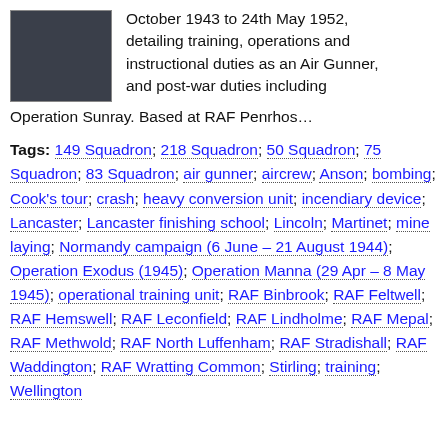[Figure (photo): Small framed photograph of a dark/navy colored object, possibly a logbook or booklet cover]
October 1943 to 24th May 1952, detailing training, operations and instructional duties as an Air Gunner, and post-war duties including Operation Sunray. Based at RAF Penrhos…
Tags: 149 Squadron; 218 Squadron; 50 Squadron; 75 Squadron; 83 Squadron; air gunner; aircrew; Anson; bombing; Cook's tour; crash; heavy conversion unit; incendiary device; Lancaster; Lancaster finishing school; Lincoln; Martinet; mine laying; Normandy campaign (6 June – 21 August 1944); Operation Exodus (1945); Operation Manna (29 Apr – 8 May 1945); operational training unit; RAF Binbrook; RAF Feltwell; RAF Hemswell; RAF Leconfield; RAF Lindholme; RAF Mepal; RAF Methwold; RAF North Luffenham; RAF Stradishall; RAF Waddington; RAF Wratting Common; Stirling; training; Wellington